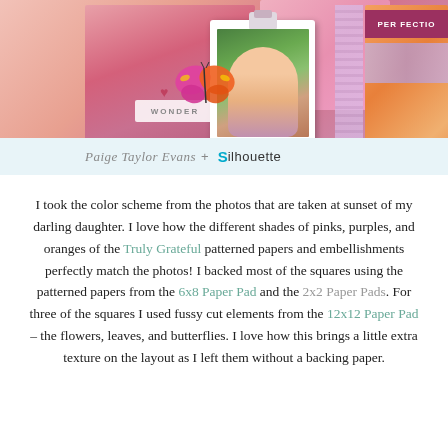[Figure (photo): Scrapbook layout collage showing patterned papers in pinks, purples, and oranges with a photo of a young girl smiling, butterfly and heart embellishments, a 'WONDER' tag, camera polaroid frame effect, and a 'PERFECTION' label. Paige Taylor Evans + Silhouette branding signature bar in light blue below.]
I took the color scheme from the photos that are taken at sunset of my darling daughter. I love how the different shades of pinks, purples, and oranges of the Truly Grateful patterned papers and embellishments perfectly match the photos! I backed most of the squares using the patterned papers from the 6x8 Paper Pad and the 2x2 Paper Pads. For three of the squares I used fussy cut elements from the 12x12 Paper Pad – the flowers, leaves, and butterflies. I love how this brings a little extra texture on the layout as I left them without a backing paper.